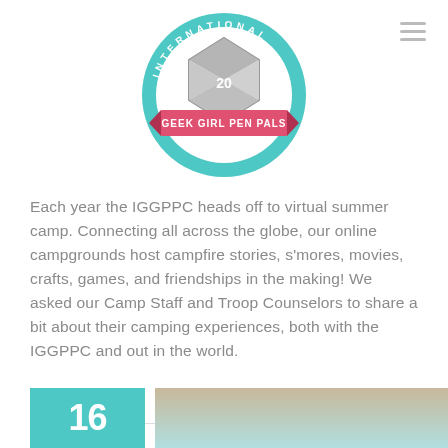[Figure (logo): International Geek Girl Pen Pals Club logo — circular teal ring with text 'INTERNATIONAL' at top and 'CLUB' at bottom, a grey d20 die in the center, and a red banner across the middle reading 'GEEK GIRL PEN PALS']
Each year the IGGPPC heads off to virtual summer camp. Connecting all across the globe, our online campgrounds host campfire stories, s'mores, movies, crafts, games, and friendships in the making! We asked our Camp Staff and Troop Counselors to share a bit about their camping experiences, both with the IGGPPC and out in the world.
Read More
[Figure (other): Teal tile with number 16 and a photo tile beside it at the bottom of the page]